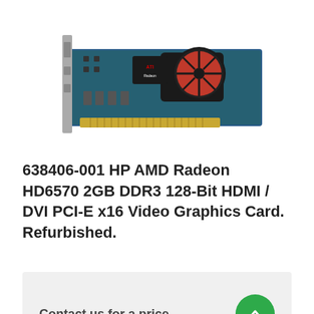[Figure (photo): AMD ATI Radeon HD6570 graphics card with red fan and AMD/ATI branding, PCIe card with DVI and HDMI outputs, shown from above on white background]
638406-001 HP AMD Radeon HD6570 2GB DDR3 128-Bit HDMI / DVI PCI-E x16 Video Graphics Card. Refurbished.
Contact us for a price